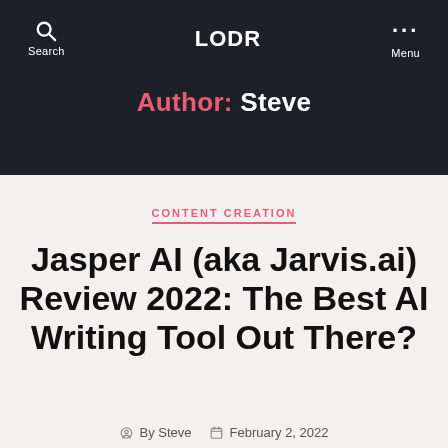LODR | Search | Menu
Author: Steve
CONTENT CREATION
Jasper AI (aka Jarvis.ai) Review 2022: The Best AI Writing Tool Out There?
By Steve   February 2, 2022